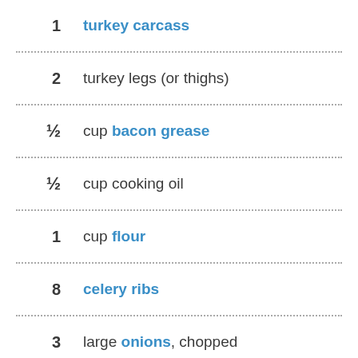1 turkey carcass
2 turkey legs (or thighs)
½ cup bacon grease
½ cup cooking oil
1 cup flour
8 celery ribs
3 large onions, chopped
1 bell pepper, chopped